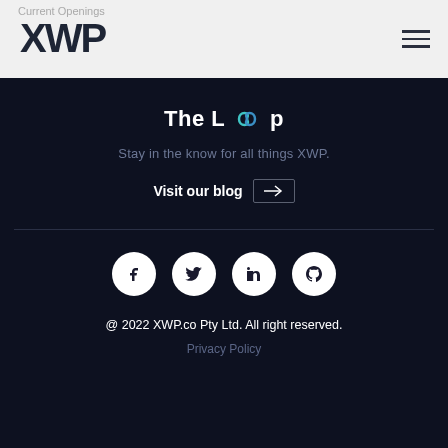Current Openings
[Figure (logo): XWP logo in dark color on light background]
The Loop
Stay in the know for all things XWP.
Visit our blog →
[Figure (other): Four social media icons: Facebook, Twitter, LinkedIn, GitHub]
@ 2022 XWP.co Pty Ltd. All right reserved.
Privacy Policy